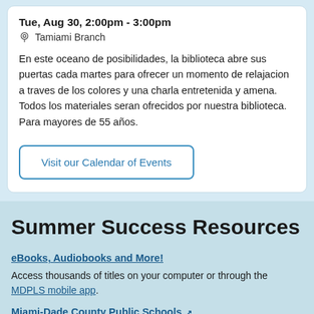Tue, Aug 30, 2:00pm - 3:00pm
Tamiami Branch
En este oceano de posibilidades, la biblioteca abre sus puertas cada martes para ofrecer un momento de relajacion a traves de los colores y una charla entretenida y amena. Todos los materiales seran ofrecidos por nuestra biblioteca. Para mayores de 55 años.
Visit our Calendar of Events
Summer Success Resources
eBooks, Audiobooks and More!
Access thousands of titles on your computer or through the MDPLS mobile app.
Miami-Dade County Public Schools
eBooks and audiobooks for students K-12.